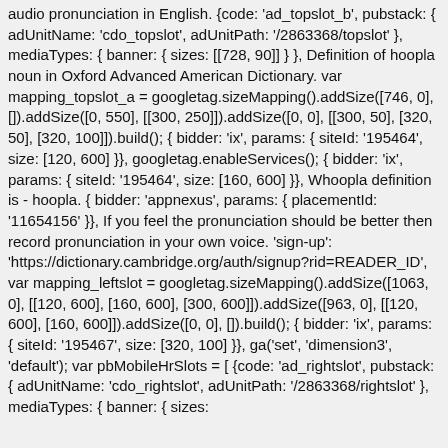audio pronunciation in English. {code: 'ad_topslot_b', pubstack: { adUnitName: 'cdo_topslot', adUnitPath: '/2863368/topslot' }, mediaTypes: { banner: { sizes: [[728, 90]] } }, Definition of hoopla noun in Oxford Advanced American Dictionary. var mapping_topslot_a = googletag.sizeMapping().addSize([746, 0], []).addSize([0, 550], [[300, 250]]).addSize([0, 0], [[300, 50], [320, 50], [320, 100]]).build(); { bidder: 'ix', params: { siteId: '195464', size: [120, 600] }}, googletag.enableServices(); { bidder: 'ix', params: { siteId: '195464', size: [160, 600] }}, Whoopla definition is - hoopla. { bidder: 'appnexus', params: { placementId: '11654156' }}, If you feel the pronunciation should be better then record pronunciation in your own voice. 'sign-up': 'https://dictionary.cambridge.org/auth/signup?rid=READER_ID', var mapping_leftslot = googletag.sizeMapping().addSize([1063, 0], [[120, 600], [160, 600], [300, 600]]).addSize([963, 0], [[120, 600], [160, 600]]).addSize([0, 0], []).build(); { bidder: 'ix', params: { siteId: '195467', size: [320, 100] }}, ga('set', 'dimension3', 'default'); var pbMobileHrSlots = [ {code: 'ad_rightslot', pubstack: { adUnitName: 'cdo_rightslot', adUnitPath: '/2863368/rightslot' }, mediaTypes: { banner: { sizes: